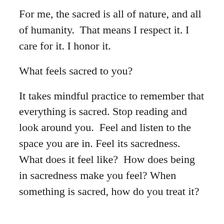For me, the sacred is all of nature, and all of humanity.  That means I respect it. I care for it. I honor it.
What feels sacred to you?
It takes mindful practice to remember that everything is sacred. Stop reading and look around you.  Feel and listen to the space you are in. Feel its sacredness. What does it feel like?  How does being in sacredness make you feel? When something is sacred, how do you treat it?